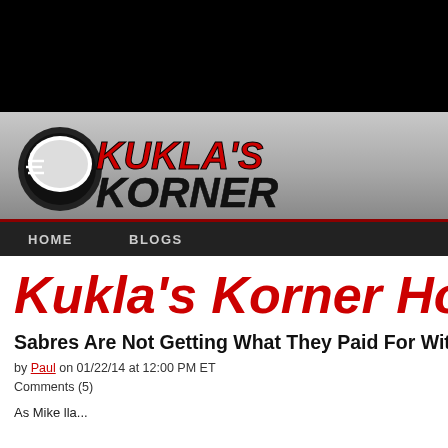[Figure (logo): Kukla's Korner hockey blog logo with hockey puck graphic and stylized red and black text]
HOME    BLOGS
Kukla's Korner Hocke
Sabres Are Not Getting What They Paid For Wit
by Paul on 01/22/14 at 12:00 PM ET
Comments (5)
As Mike lla...